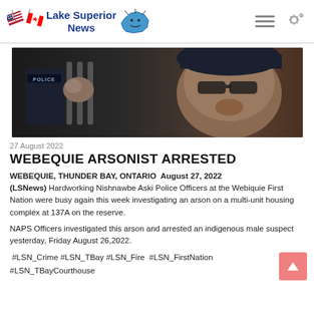Lake Superior News
[Figure (photo): A police officer holding cell bars, man in background]
27 August 2022
WEBEQUIE ARSONIST ARRESTED
WEBEQUIE, THUNDER BAY, ONTARIO  August 27, 2022 (LSNews) Hardworking Nishnawbe Aski Police Officers at the Webiquie First Nation were busy again this week investigating an arson on a multi-unit housing complex at 137A on the reserve.
NAPS Officers investigated this arson and arrested an indigenous male suspect yesterday, Friday August 26,2022.
#LSN_Crime #LSN_TBay #LSN_Fire  #LSN_FirstNation #LSN_TBayCourthouse